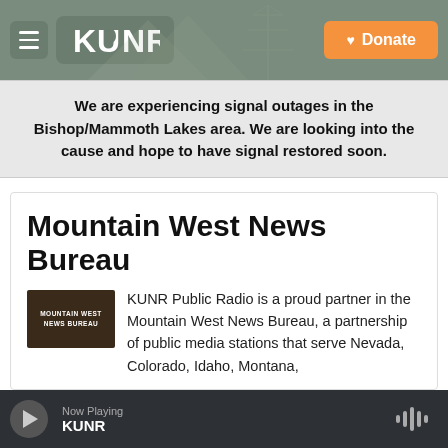[Figure (logo): KUNR Public Radio website header with hamburger menu, KUNR logo, mountain/tower background illustration, and orange Donate button]
We are experiencing signal outages in the Bishop/Mammoth Lakes area. We are looking into the cause and hope to have signal restored soon.
Mountain West News Bureau
[Figure (logo): Mountain West News Bureau logo - dark brown/black background with white text]
KUNR Public Radio is a proud partner in the Mountain West News Bureau, a partnership of public media stations that serve Nevada, Colorado, Idaho, Montana,
Now Playing KUNR